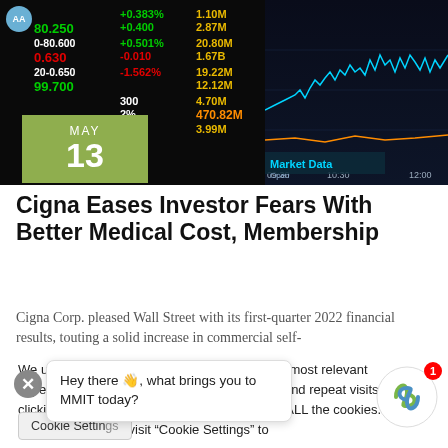[Figure (photo): Stock market ticker board showing green, red, and yellow price data alongside a financial line chart with Market Data label, date overlay showing MAY 13]
Cigna Eases Investor Fears With Better Medical Cost, Membership
Cigna Corp. pleased Wall Street with its first-quarter 2022 financial results, touting a solid increase in commercial self-
We use cookies on our website to give you the most relevant experience by remembering your preferences and repeat visits. By clicking “Accept All”, you consent to the use of ALL the cookies. However, you may visit “Cookie Settings” to provide a controlled consent.
Hey there 👋, what brings you to MMIT today?
Cookie Settings